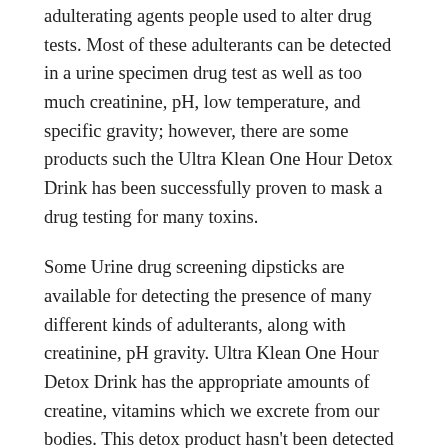adulterating agents people used to alter drug tests. Most of these adulterants can be detected in a urine specimen drug test as well as too much creatinine, pH, low temperature, and specific gravity; however, there are some products such the Ultra Klean One Hour Detox Drink has been successfully proven to mask a drug testing for many toxins.
Some Urine drug screening dipsticks are available for detecting the presence of many different kinds of adulterants, along with creatinine, pH gravity. Ultra Klean One Hour Detox Drink has the appropriate amounts of creatine, vitamins which we excrete from our bodies. This detox product hasn't been detected on any drug test that would detect